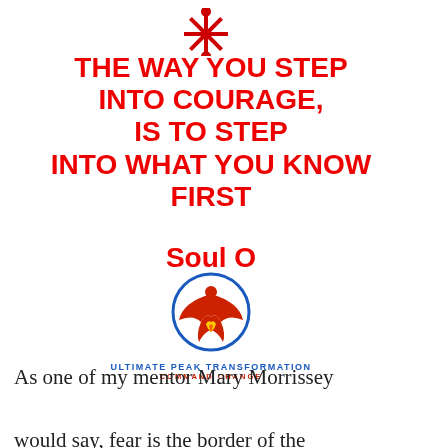[Figure (illustration): Red asterisk/snowflake decorative icon at top center]
THE WAY YOU STEP INTO COURAGE, IS TO STEP INTO WHAT YOU KNOW FIRST Soul O
[Figure (logo): Ultimate Peak Transformation Command Change logo - phoenix bird in blue circle with text below]
As one of my mentor Mary Morrissey would say, fear is the border of the